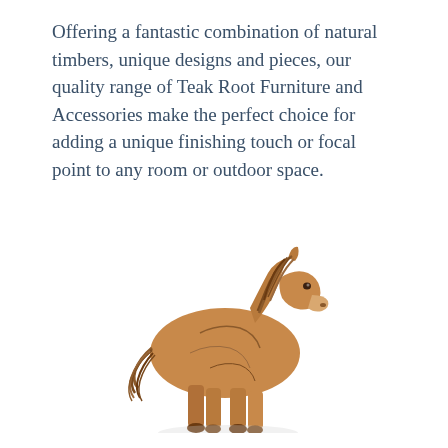Offering a fantastic combination of natural timbers, unique designs and pieces, our quality range of Teak Root Furniture and Accessories make the perfect choice for adding a unique finishing touch or focal point to any room or outdoor space.
[Figure (photo): A decorative horse sculpture made from teak root wood, showing the natural grain and texture of the timber formed into a horse shape with flowing mane and tail.]